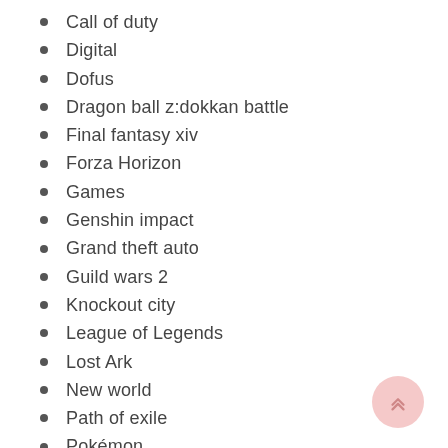Call of duty
Digital
Dofus
Dragon ball z:dokkan battle
Final fantasy xiv
Forza Horizon
Games
Genshin impact
Grand theft auto
Guild wars 2
Knockout city
League of Legends
Lost Ark
New world
Path of exile
Pokémon
Pubg
Rise of kingdoms